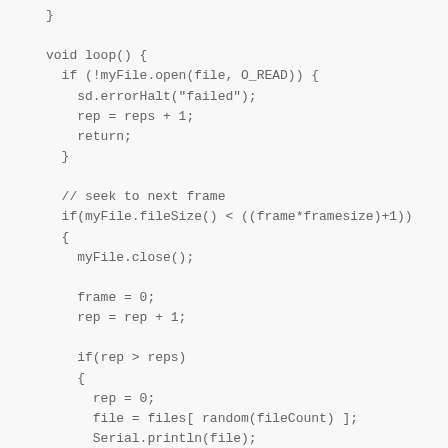}

void loop() {
  if (!myFile.open(file, O_READ)) {
    sd.errorHalt("failed");
    rep = reps + 1;
    return;
  }

  // seek to next frame
  if(myFile.fileSize() < ((frame*framesize)+1))
  {
    myFile.close();

    frame = 0;
    rep = rep + 1;

    if(rep > reps)
    {
      rep = 0;
      file = files[ random(fileCount) ];
      Serial.println(file);
    }

    return;
  }
  else
  {